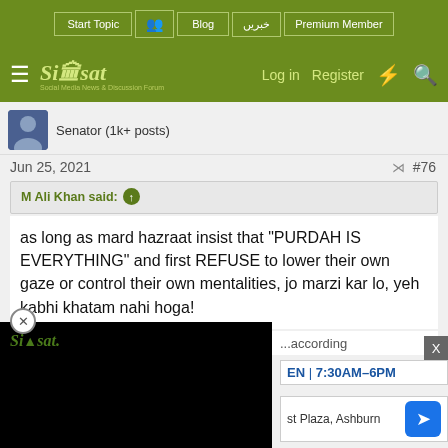Start Topic | Blog | خبریں | Premium Member | Log in | Register
[Figure (logo): Siasat.pk logo with tagline Social Media News & Discussion Forum]
Senator (1k+ posts)
Jun 25, 2021  #76
M Ali Khan said: ↑
as long as mard hazraat insist that "PURDAH IS EVERYTHING" and first REFUSE to lower their own gaze or control their own mentalities, jo marzi kar lo, yeh kabhi khatam nahi hoga!
[Figure (screenshot): Black video player overlay with Siasat logo]
...first is
...according
EN | 7:30AM–6PM
st Plaza, Ashburn